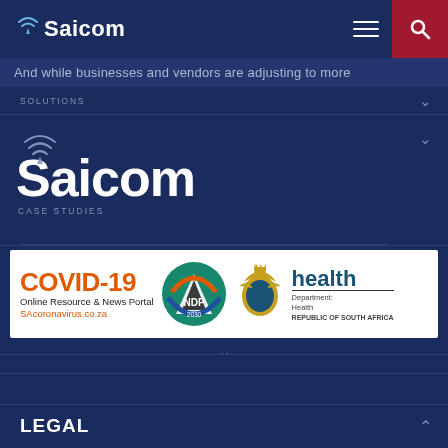[Figure (screenshot): Saicom website navigation screenshot showing logo, hamburger menu, search button, scrolling banner text, Saicom large logo with CASE STUDIES label, COVID-19 health banner, UNIVERSITY SOLUTIONS menu item, and LEGAL menu item]
Saicom
And while businesses and vendors are adjusting to more
SOLUTIONS
[Figure (logo): Large Saicom logo with WiFi signal icon above the letter i, white text on dark navy background]
CASE STUDIES
[Figure (infographic): COVID-19 Online Resource & News Portal banner with SAcoronavirus.co.za, NDP 2030 logo, and South African Department of Health logo]
UNIVERSITY
SOLUTIONS
LEGAL